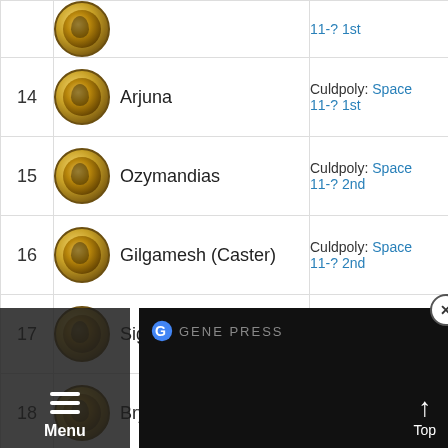| # | Character | Info |
| --- | --- | --- |
| ~13 | (coin) | 11-? 1st |
| 14 | Arjuna | Culdpoly: Space 11-? 1st |
| 15 | Ozymandias | Culdpoly: Space 11-? 2nd |
| 16 | Gilgamesh (Caster) | Culdpoly: Space 11-? 2nd |
| 17 | Sigurd | Culdpoly: Space 11-? 3rd |
| 18 | Brynhild | Culdpoly: Space |
| 19 | Beowulf |  |
| 20 | Saint Martha (Ruler) |  |